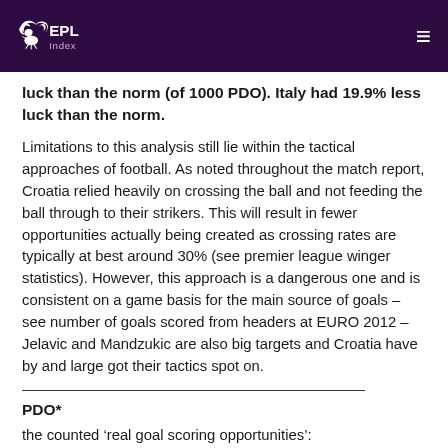EPL Index
luck than the norm (of 1000 PDO). Italy had 19.9% less luck than the norm.
Limitations to this analysis still lie within the tactical approaches of football. As noted throughout the match report, Croatia relied heavily on crossing the ball and not feeding the ball through to their strikers. This will result in fewer opportunities actually being created as crossing rates are typically at best around 30% (see premier league winger statistics). However, this approach is a dangerous one and is consistent on a game basis for the main source of goals – see number of goals scored from headers at EURO 2012 – Jelavic and Mandzukic are also big targets and Croatia have by and large got their tactics spot on.
PDO*
the counted 'real goal scoring opportunities':